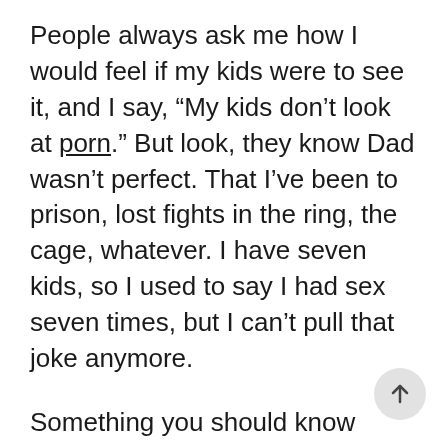People always ask me how I would feel if my kids were to see it, and I say, “My kids don’t look at porn.” But look, they know Dad wasn’t perfect. That I’ve been to prison, lost fights in the ring, the cage, whatever. I have seven kids, so I used to say I had sex seven times, but I can’t pull that joke anymore.
Something you should know though: I think my scenes were successful because we had a female director. She told me, “Men don’t buy porn, they watch it free on the internet. Women buy.” So we geared